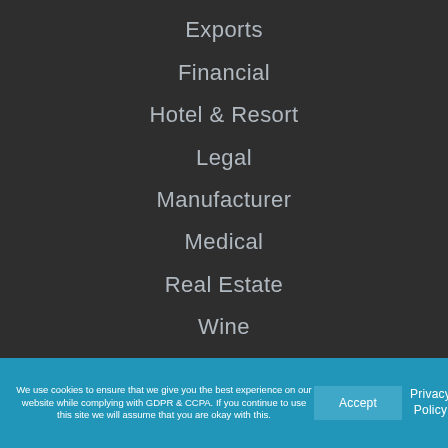Exports
Financial
Hotel & Resort
Legal
Manufacturer
Medical
Real Estate
Wine
We use cookies to ensure that we give you the best experience on our website while complying with GDPR & CCPA. If you continue to use this site we will assume that you are okay with this.
Accept
Privacy Policy